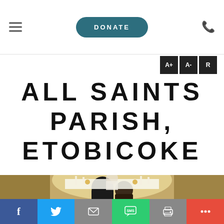DONATE
ALL SAINTS PARISH, ETOBICOKE
[Figure (photo): Interior of a church with a couple viewed from behind facing the altar, warm golden candlelight and ornate decorations visible]
f  Twitter  Email  SMS  Print  More